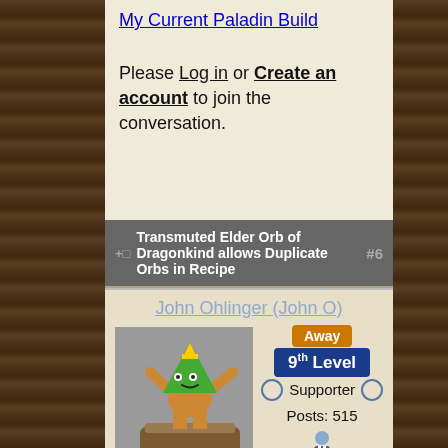My Current Paladin Build
Please Log in or Create an account to join the conversation.
Transmuted Elder Orb of Dragonkind allows Duplicate Orbs in Recipe #6
John Ohlinger (John O)
Away
9th Level
Supporter
Posts: 515
[Figure (photo): User avatar showing a green triangle-headed cartoon character with arms raised, standing on a brown base/pedestal, against a gray background]